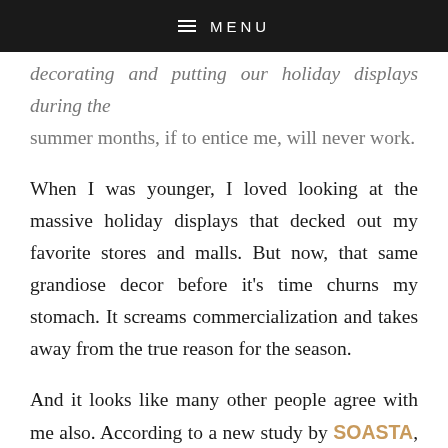≡ MENU
decorating and putting our holiday displays during the summer months, if to entice me, will never work.
When I was younger, I loved looking at the massive holiday displays that decked out my favorite stores and malls. But now, that same grandiose decor before it's time churns my stomach. It screams commercialization and takes away from the true reason for the season.
And it looks like many other people agree with me also. According to a new study by SOASTA, a cloud and mobile testing firm, 75% of Americans think that decorations in stores shouldn't be put up until after Thanksgiving. 78% of the people polled also stated